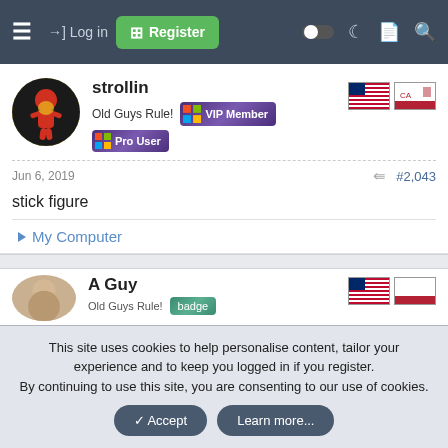Log in | Register
strollin
Old Guys Rule! VIP Member
Pro User
Jun 6, 2019  #2,043
stick figure
▶ My Computer
A Guy
This site uses cookies to help personalise content, tailor your experience and to keep you logged in if you register.
By continuing to use this site, you are consenting to our use of cookies.
Accept  Learn more...